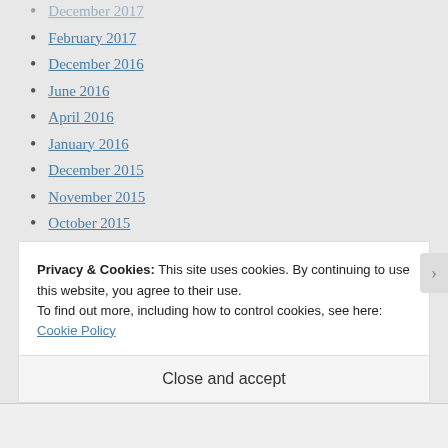December 2017
February 2017
December 2016
June 2016
April 2016
January 2016
December 2015
November 2015
October 2015
September 2015
August 2015
July 2015
Privacy & Cookies: This site uses cookies. By continuing to use this website, you agree to their use.
To find out more, including how to control cookies, see here: Cookie Policy
Close and accept